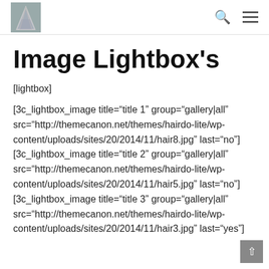[logo] [search icon] [menu icon]
Image Lightbox's
[lightbox]

[3c_lightbox_image title="title 1" group="gallery|all" src="http://themecanon.net/themes/hairdo-lite/wp-content/uploads/sites/20/2014/11/hair8.jpg" last="no"] [3c_lightbox_image title="title 2" group="gallery|all" src="http://themecanon.net/themes/hairdo-lite/wp-content/uploads/sites/20/2014/11/hair5.jpg" last="no"] [3c_lightbox_image title="title 3" group="gallery|all" src="http://themecanon.net/themes/hairdo-lite/wp-content/uploads/sites/20/2014/11/hair3.jpg" last="yes"]